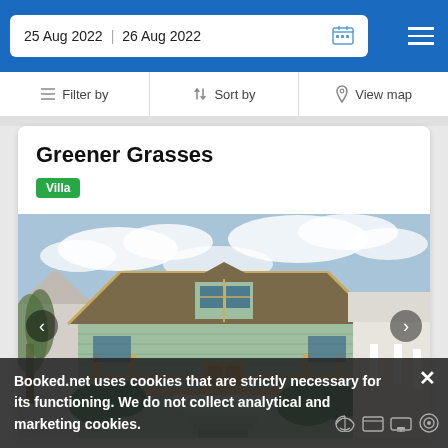25 Aug 2022   26 Aug 2022
Filter by   Sort by   View map
Greener Grasses
Villa
[Figure (photo): Craftsman style house with light green siding, yellow trim, front porch with railings and steps, cloudy sky background]
Booked.net uses cookies that are strictly necessary for its functioning. We do not collect analytical and marketing cookies.